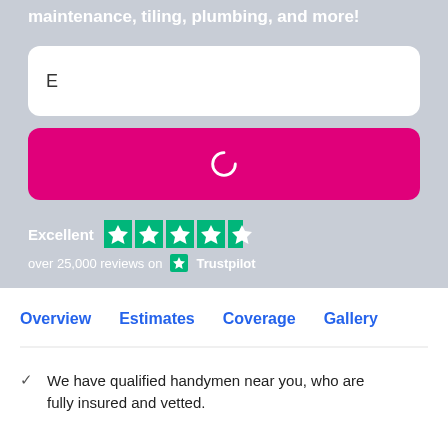maintenance, tiling, plumbing, and more!
E
[Figure (other): Pink/magenta rounded button with a loading spinner icon in white]
[Figure (other): Trustpilot rating widget showing Excellent with 4.5 green stars]
over 25,000 reviews on Trustpilot
Overview   Estimates   Coverage   Gallery
We have qualified handymen near you, who are fully insured and vetted.